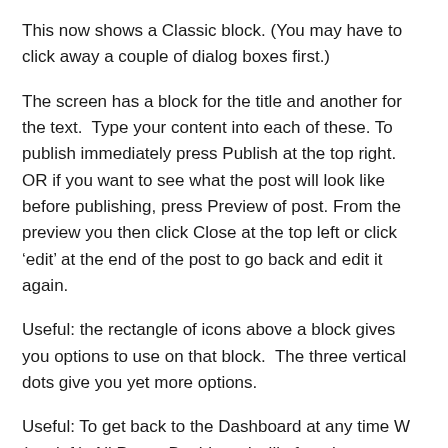This now shows a Classic block. (You may have to click away a couple of dialog boxes first.)
The screen has a block for the title and another for the text.  Type your content into each of these. To publish immediately press Publish at the top right. OR if you want to see what the post will look like before publishing, press Preview of post. From the preview you then click Close at the top left or click ‘edit’ at the end of the post to go back and edit it again.
Useful: the rectangle of icons above a block gives you options to use on that block.  The three vertical dots give you yet more options.
Useful: To get back to the Dashboard at any time W (top left), All Posts, Dashboard will often, but not always, work.